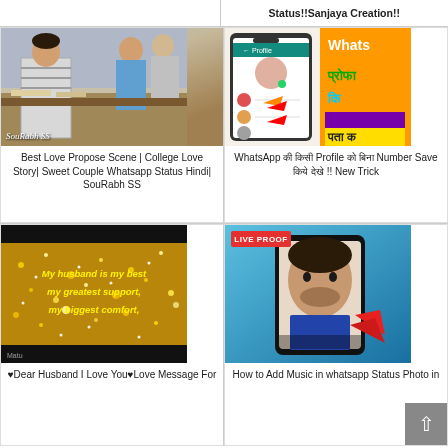Status!!Sanjaya Creation!!
[Figure (photo): College classroom scene with young man in striped shirt]
Best Love Propose Scene | College Love Story| Sweet Couple Whatsapp Status Hindi| SouRabh SS
[Figure (screenshot): WhatsApp profile screen with Hindi text and orange arrow]
WhatsApp की किसी Profile को बिना Number Save किये देखे !! New Trick
[Figure (photo): Gold glitter background with text: My husband is my best my greatest support, my biggest comfort,]
♥Dear Husband I Love You♥Love Message For
[Figure (photo): Young man with phone showing WhatsApp status, LIVE PROOF badge, red arrow]
How to Add Music in whatsapp Status Photo in